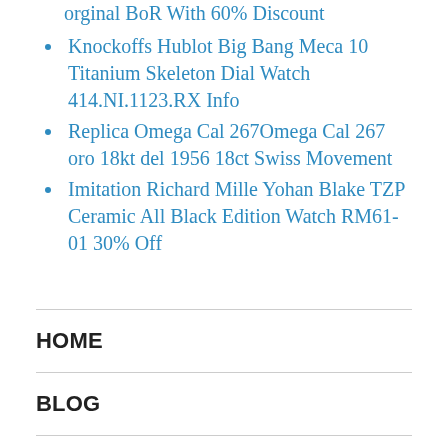orginal BoR With 60% Discount
Knockoffs Hublot Big Bang Meca 10 Titanium Skeleton Dial Watch 414.NI.1123.RX Info
Replica Omega Cal 267Omega Cal 267 oro 18kt del 1956 18ct Swiss Movement
Imitation Richard Mille Yohan Blake TZP Ceramic All Black Edition Watch RM61-01 30% Off
HOME
BLOG
Top 7 Hot Diamond Rolex Watches Replicas With 50%